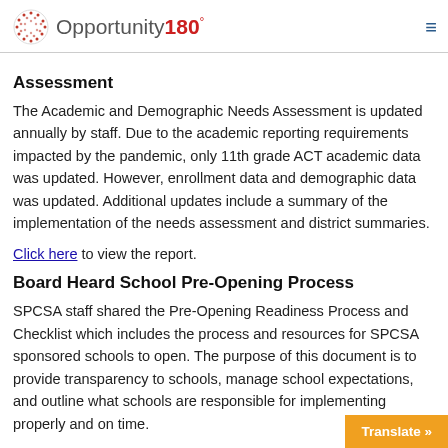Opportunity 180°
Assessment
The Academic and Demographic Needs Assessment is updated annually by staff. Due to the academic reporting requirements impacted by the pandemic, only 11th grade ACT academic data was updated. However, enrollment data and demographic data was updated. Additional updates include a summary of the implementation of the needs assessment and district summaries.
Click here to view the report.
Board Heard School Pre-Opening Process
SPCSA staff shared the Pre-Opening Readiness Process and Checklist which includes the process and resources for SPCSA sponsored schools to open. The purpose of this document is to provide transparency to schools, manage school expectations, and outline what schools are responsible for implementing properly and on time.